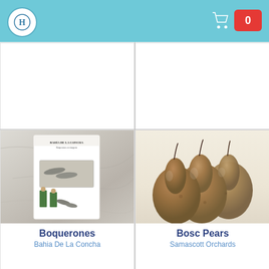Navigation bar with logo and shopping cart showing 0 items
[Figure (photo): Bahia De La Concha Boquerones en vinagreta product box on marble surface with illustrated soldiers and fish]
[Figure (photo): Three brown Bosc pears on a light background]
Boquerones
Bahia De La Concha
Bosc Pears
Samascott Orchards